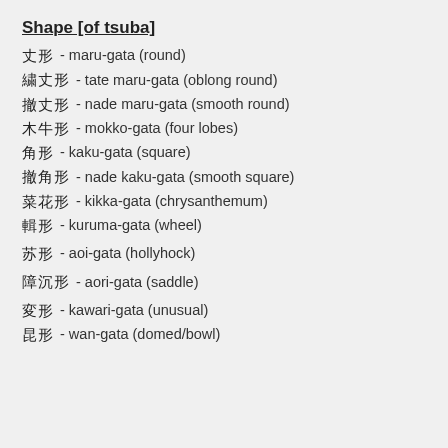Shape [of tsuba]
丸形 - maru-gata (round)
縦丸形 - tate maru-gata (oblong round)
撫丸形 - nade maru-gata (smooth round)
木瓜形 - mokko-gata (four lobes)
角形 - kaku-gata (square)
撫角形 - nade kaku-gata (smooth square)
菊花形 - kikka-gata (chrysanthemum)
車形 - kuruma-gata (wheel)
葵形 - aoi-gata (hollyhock)
障泥形 - aori-gata (saddle)
変形 - kawari-gata (unusual)
椀形 - wan-gata (domed/bowl)